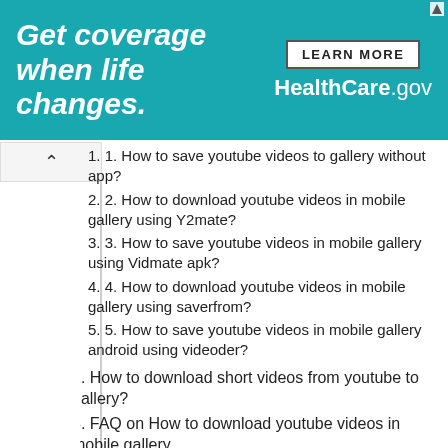[Figure (other): Healthcare.gov advertisement banner: 'Get coverage when life changes.' with LEARN MORE button and HealthCare.gov logo on teal background]
1. 1. How to save youtube videos to gallery without app?
2. 2. How to download youtube videos in mobile gallery using Y2mate?
3. 3. How to save youtube videos in mobile gallery using Vidmate apk?
4. 4. How to download youtube videos in mobile gallery using saverfrom?
5. 5. How to save youtube videos in mobile gallery android using videoder?
2. How to download short videos from youtube to gallery?
3. FAQ on How to download youtube videos in mobile gallery
1. Can we download all youtube videos to phone